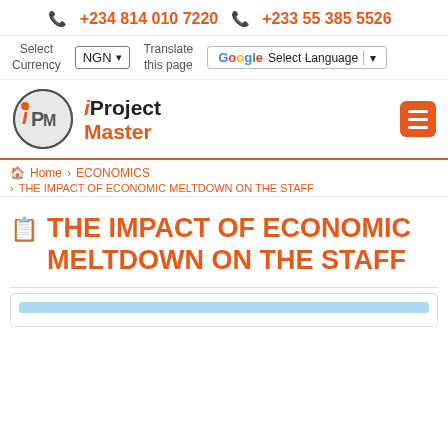+234 814 010 7220   +233 55 385 5526
[Figure (screenshot): Toolbar with Select Currency (NGN dropdown) and Translate this page (Google Select Language) controls]
[Figure (logo): iProject Master logo — circular IPM emblem with i in orange, Project in bold black, Master in bold orange]
Home > ECONOMICS > THE IMPACT OF ECONOMIC MELTDOWN ON THE STAFF
THE IMPACT OF ECONOMIC MELTDOWN ON THE STAFF